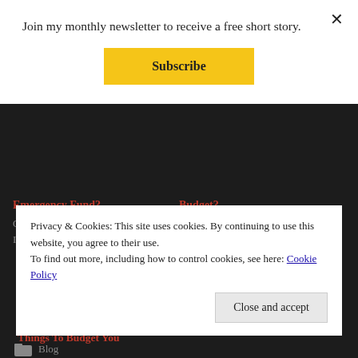Join my monthly newsletter to receive a free short story.
Subscribe
Emergency Fund?
October 1, 2021
In 'Blog'
Budget?
October 8, 2021
In 'Blog'
[Figure (photo): A calculator and pen resting on financial documents/spreadsheets]
Things To Budget You
Privacy & Cookies: This site uses cookies. By continuing to use this website, you agree to their use.
To find out more, including how to control cookies, see here: Cookie Policy
Close and accept
Blog